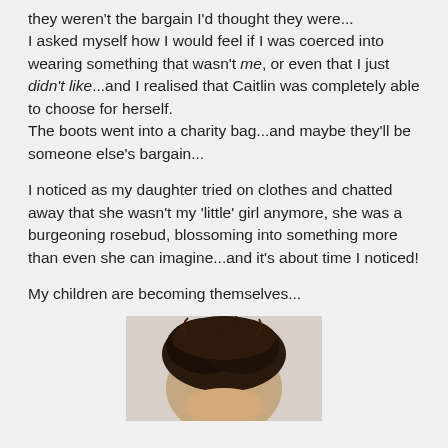they weren't the bargain I'd thought they were... I asked myself how I would feel if I was coerced into wearing something that wasn't me, or even that I just didn't like...and I realised that Caitlin was completely able to choose for herself. The boots went into a charity bag...and maybe they'll be someone else's bargain...
I noticed as my daughter tried on clothes and chatted away that she wasn't my 'little' girl anymore, she was a burgeoning rosebud, blossoming into something more than even she can imagine...and it's about time I noticed!
My children are becoming themselves...
[Figure (photo): Photo of a child's head from above, showing dark brown/black hair against a light background]